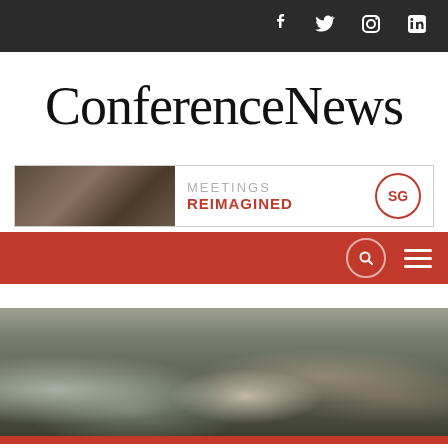Social media icons: Facebook, Twitter, Instagram, LinkedIn
ConferenceNews
[Figure (photo): Advertisement banner showing people at a meeting/dining table on the left, with text 'MEETINGS REIMAGINED' and the SG logo circle on the right]
[Figure (screenshot): Red navigation bar with search icon and hamburger menu on the right]
[Figure (photo): Hero image showing a group of young people dancing and celebrating in a brick-walled venue]